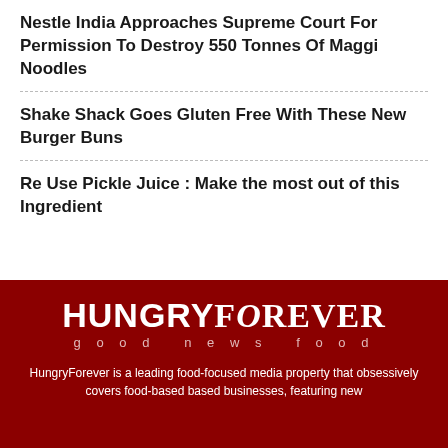Nestle India Approaches Supreme Court For Permission To Destroy 550 Tonnes Of Maggi Noodles
Shake Shack Goes Gluten Free With These New Burger Buns
Re Use Pickle Juice : Make the most out of this Ingredient
[Figure (logo): HungryForever logo with tagline 'good news food' on dark red background]
HungryForever is a leading food-focused media property that obsessively covers food-based based businesses, featuring new